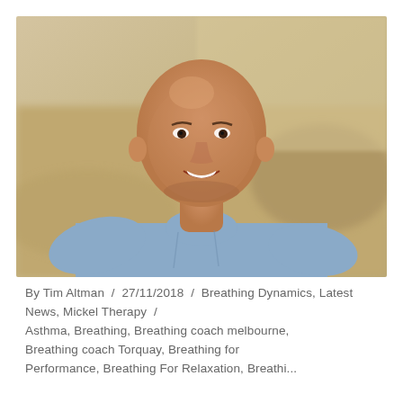[Figure (photo): A smiling bald man wearing a light blue long-sleeve shirt, sitting outdoors on a sandy/rocky surface with a blurred background. The photo appears to be a professional headshot or portrait.]
By Tim Altman / 27/11/2018 / Breathing Dynamics, Latest News, Mickel Therapy / Asthma, Breathing, Breathing coach melbourne, Breathing coach Torquay, Breathing for Performance, Breathing For Relaxation, Breathi...